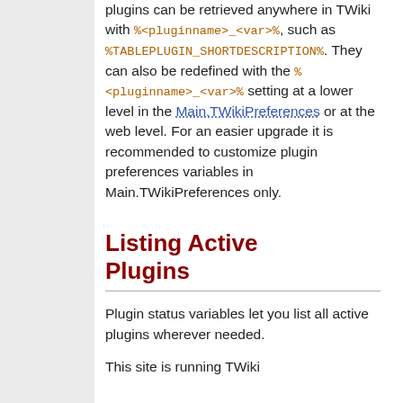plugins can be retrieved anywhere in TWiki with %<pluginname>_<var>%, such as %TABLEPLUGIN_SHORTDESCRIPTION%. They can also be redefined with the %<pluginname>_<var>% setting at a lower level in the Main.TWikiPreferences or at the web level. For an easier upgrade it is recommended to customize plugin preferences variables in Main.TWikiPreferences only.
Listing Active Plugins
Plugin status variables let you list all active plugins wherever needed.
This site is running TWiki